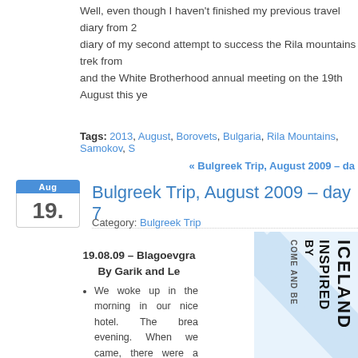Well, even though I haven't finished my previous travel diary from 2... diary of my second attempt to success the Rila mountains trek from... and the White Brotherhood annual meeting on the 19th August this ye...
Tags: 2013, August, Borovets, Bulgaria, Rila Mountains, Samokov, S...
« Bulgreek Trip, August 2009 – da...
Bulgreek Trip, August 2009 – day 7
Category: Bulgreek Trip
19.08.09 – Blagoevgra
By Garik and Le
We woke up in the morning in our nice hotel. The brea... evening. When we came, there were a large group of Fr... knowing whether this is a self service or not, because no... hotel. So we sat there for about 15 minutes till Lena got s... When she asked in the kitchen, they gave her two plate... her to go back and seat. Meanwhile a waitress came to... way back she saw Lena with two plates, so she took the p... know how things are working there. Read the rest of the entry »
[Figure (illustration): Inspired by Iceland vertical banner with rotated text reading COME AND BE INSPIRED BY ICELAND]